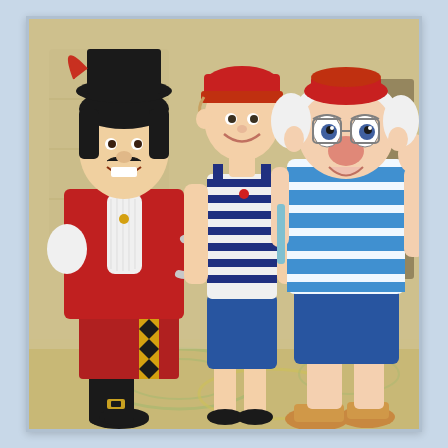[Figure (photo): A woman wearing a red beanie hat, blue and white striped tank top, and blue shorts stands between two Disney character mascots. On her left is Captain Hook in his red coat, black boots, and white ruffled shirt. On her right is Mr. Smee in a blue and white striped shirt and blue shorts with sandals. They are posing together in what appears to be a cruise ship lobby with a decorative patterned carpet.]